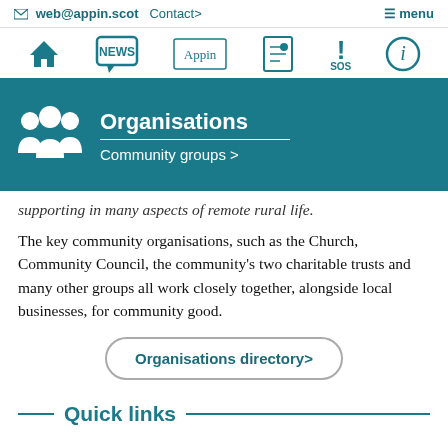✉ web@appin.scot  Contact>  ≡ menu
[Figure (screenshot): Navigation bar with icons: home, NEWS (speech bubble), Appin (text), community directory (book icon), SOS (exclamation), info (i circle)]
Organisations
Community groups >
supporting in many aspects of remote rural life.
The key community organisations, such as the Church, Community Council, the community's two charitable trusts and many other groups all work closely together, alongside local businesses, for community good.
Organisations directory>
Quick links